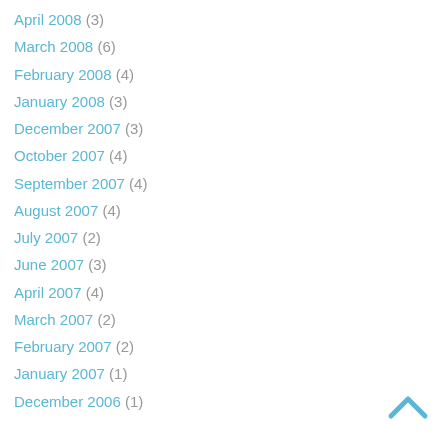April 2008 (3)
March 2008 (6)
February 2008 (4)
January 2008 (3)
December 2007 (3)
October 2007 (4)
September 2007 (4)
August 2007 (4)
July 2007 (2)
June 2007 (3)
April 2007 (4)
March 2007 (2)
February 2007 (2)
January 2007 (1)
December 2006 (1)
[Figure (other): Back to top chevron arrow icon]